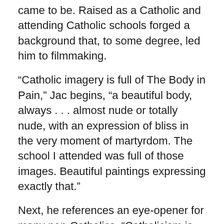came to be. Raised as a Catholic and attending Catholic schools forged a background that, to some degree, led him to filmmaking.
“Catholic imagery is full of The Body in Pain,” Jac begins, “a beautiful body, always . . . almost nude or totally nude, with an expression of bliss in the very moment of martyrdom. The school I attended was full of those images. Beautiful paintings expressing exactly that.”
Next, he references an eye-opener for many non-Catholics. “Catholicism is far less repressed sexually” than other forms of Christianity, he says. In subsequent films shot under the production banner of Pachamama Films, Jac emphasizes what many of his fans interpret as the sexual kinks of bdsm—female whipping scenes and crucifixion—are integral to much of his work.